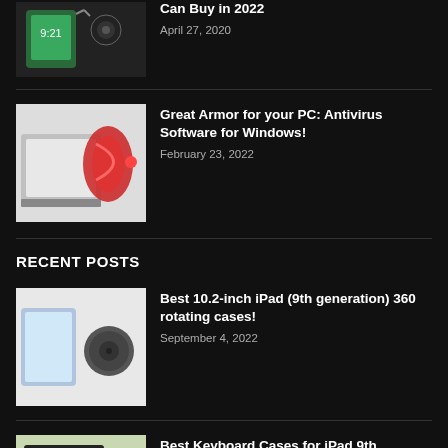[Figure (photo): Thumbnail image for article about products you can buy in 2022]
Can Buy in 2022
April 27, 2020
[Figure (photo): Thumbnail image of a red snake-like threat coming out of a computer screen representing antivirus software]
Great Armor for your PC: Antivirus Software for Windows!
February 23, 2022
RECENT POSTS
[Figure (photo): Thumbnail of iPad with rotating case and speaker]
Best 10.2-inch iPad (9th generation) 360 rotating cases!
September 4, 2022
[Figure (photo): Thumbnail of iPad keyboard cases in various colors]
Best Keyboard Cases for iPad 9th Generation!
September 2, 2022